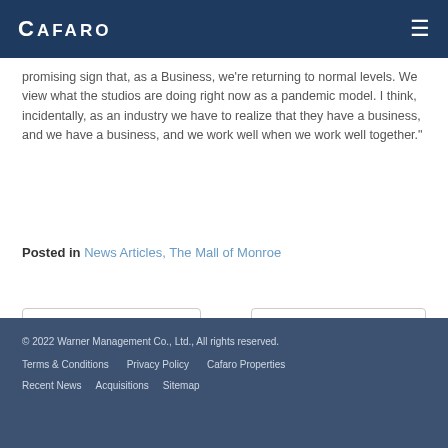CAFARO
promising sign that, as a Business, we're returning to normal levels. We view what the studios are doing right now as a pandemic model. I think, incidentally, as an industry we have to realize that they have a business, and we have a business, and we work well when we work well together."
Posted in News Articles, The Mall of Monroe
← Perkins open for business
A Day for the Champions →
© 2022 Warner Management Co., Ltd., All rights reserved. Terms & Conditions  Privacy Policy  Cafaro Properties  Recent News  Acquisitions  Sitemap